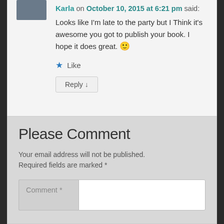[Figure (photo): User avatar photo thumbnail, partially cropped at top]
Karla on October 10, 2015 at 6:21 pm said:
Looks like I'm late to the party but I Think it's awesome you got to publish your book. I hope it does great. 🙂
★ Like
Reply ↓
Please Comment
Your email address will not be published. Required fields are marked *
Comment *